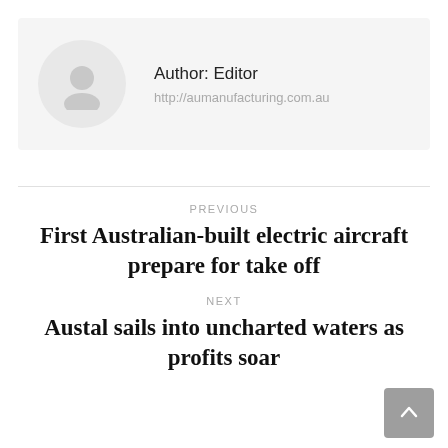[Figure (illustration): Author avatar placeholder: grey circle with a person silhouette icon]
Author: Editor
http://aumanufacturing.com.au
PREVIOUS
First Australian-built electric aircraft prepare for take off
NEXT
Austal sails into uncharted waters as profits soar